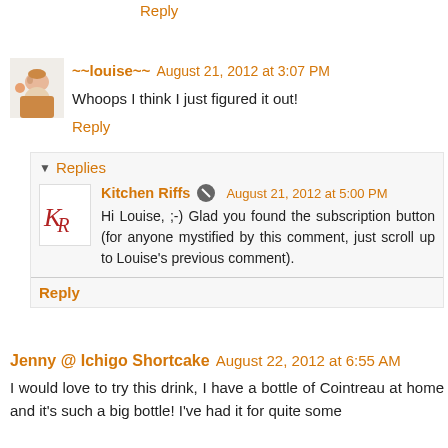Reply
~~louise~~ August 21, 2012 at 3:07 PM
Whoops I think I just figured it out!
Reply
Replies
Kitchen Riffs August 21, 2012 at 5:00 PM
Hi Louise, ;-) Glad you found the subscription button (for anyone mystified by this comment, just scroll up to Louise's previous comment).
Reply
Jenny @ Ichigo Shortcake August 22, 2012 at 6:55 AM
I would love to try this drink, I have a bottle of Cointreau at home and it's such a big bottle! I've had it for quite some